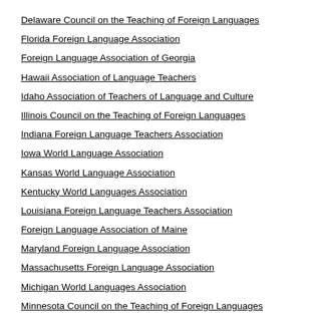Delaware Council on the Teaching of Foreign Languages
Florida Foreign Language Association
Foreign Language Association of Georgia
Hawaii Association of Language Teachers
Idaho Association of Teachers of Language and Culture
Illinois Council on the Teaching of Foreign Languages
Indiana Foreign Language Teachers Association
Iowa World Language Association
Kansas World Language Association
Kentucky World Languages Association
Louisiana Foreign Language Teachers Association
Foreign Language Association of Maine
Maryland Foreign Language Association
Massachusetts Foreign Language Association
Michigan World Languages Association
Minnesota Council on the Teaching of Foreign Languages
Mississippi Foreign Language Association
Foreign Language Association of Missouri